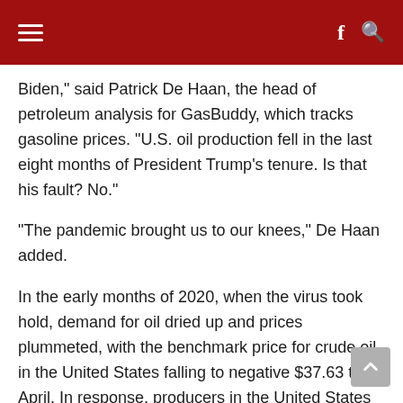Biden,” said Patrick De Haan, the head of petroleum analysis for GasBuddy, which tracks gasoline prices. “U.S. oil production fell in the last eight months of President Trump’s tenure. Is that his fault? No.”
“The pandemic brought us to our knees,” De Haan added.
In the early months of 2020, when the virus took hold, demand for oil dried up and prices plummeted, with the benchmark price for crude oil in the United States falling to negative $37.63 that April. In response, producers in the United States and around the world began decreasing output.
As pandemic restrictions loosened worldwide and economies recovered, demand outpaced supply. That